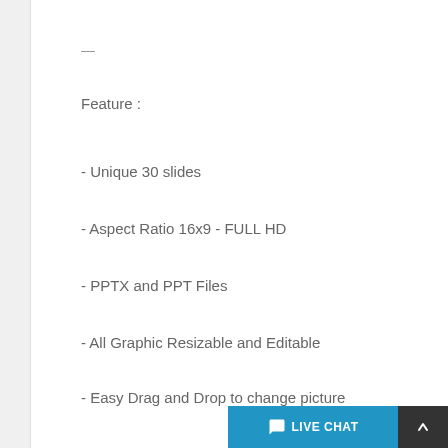—
Feature :
- Unique 30 slides
- Aspect Ratio 16x9 - FULL HD
- PPTX and PPT Files
- All Graphic Resizable and Editable
- Easy Drag and Drop to change picture
- Animation & Transition